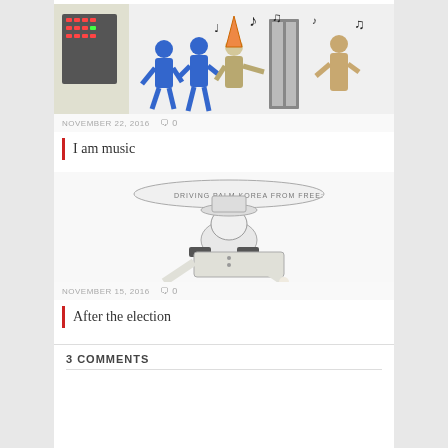[Figure (illustration): Cartoon illustration of people in uniforms dancing or moving to music, with musical notes floating around, control panel visible on left side]
NOVEMBER 22, 2016   0
I am music
[Figure (illustration): Black and white cartoon of a military or police officer figure with a speech bubble, shown from behind/below with epaulettes visible]
NOVEMBER 15, 2016   0
After the election
3 COMMENTS